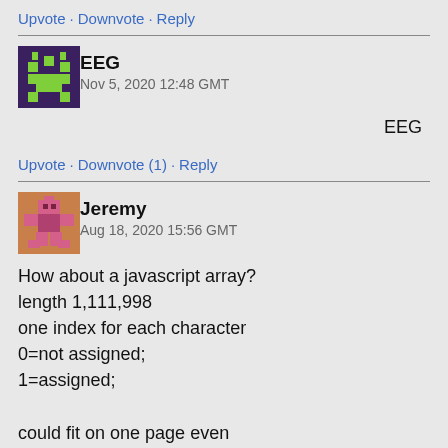Upvote · Downvote · Reply
[Figure (illustration): EEG pixel art avatar - dark purple/green space invader style icon]
EEG
Nov 5, 2020 12:48 GMT
EEG
Upvote · Downvote (1) · Reply
[Figure (illustration): Jeremy pixel art avatar - brown/pink symmetric figure]
Jeremy
Aug 18, 2020 15:56 GMT
How about a javascript array?
length 1,111,998
one index for each character
0=not assigned;
1=assigned;

could fit on one page even
very usefull chunk of code too.
Upvote · Downvote · Reply